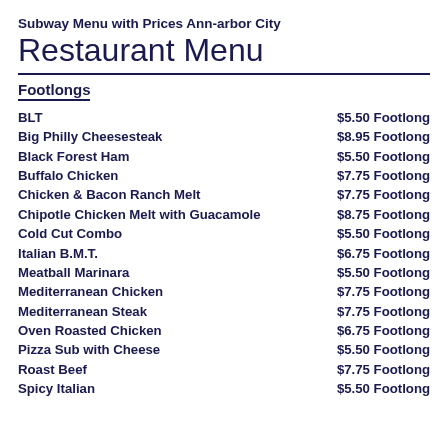Subway Menu with Prices Ann-arbor City
Restaurant Menu
Footlongs
| Item | Price |
| --- | --- |
| BLT | $5.50 Footlong |
| Big Philly Cheesesteak | $8.95 Footlong |
| Black Forest Ham | $5.50 Footlong |
| Buffalo Chicken | $7.75 Footlong |
| Chicken & Bacon Ranch Melt | $7.75 Footlong |
| Chipotle Chicken Melt with Guacamole | $8.75 Footlong |
| Cold Cut Combo | $5.50 Footlong |
| Italian B.M.T. | $6.75 Footlong |
| Meatball Marinara | $5.50 Footlong |
| Mediterranean Chicken | $7.75 Footlong |
| Mediterranean Steak | $7.75 Footlong |
| Oven Roasted Chicken | $6.75 Footlong |
| Pizza Sub with Cheese | $5.50 Footlong |
| Roast Beef | $7.75 Footlong |
| Spicy Italian | $5.50 Footlong |